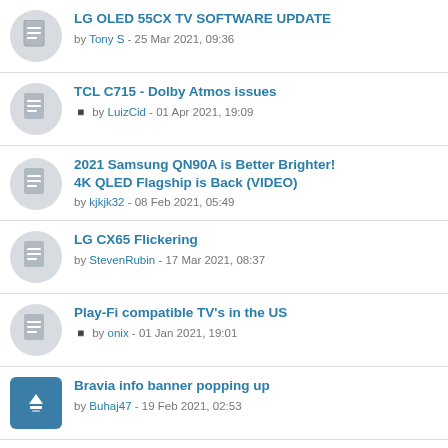LG OLED 55CX TV SOFTWARE UPDATE
by Tony S - 25 Mar 2021, 09:36
TCL C715 - Dolby Atmos issues
by LuizCid - 01 Apr 2021, 19:09
2021 Samsung QN90A is Better Brighter! 4K QLED Flagship is Back (VIDEO)
by kjkjk32 - 08 Feb 2021, 05:49
LG CX65 Flickering
by StevenRubin - 17 Mar 2021, 08:37
Play-Fi compatible TV's in the US
by onix - 01 Jan 2021, 19:01
Bravia info banner popping up
by Buhaj47 - 19 Feb 2021, 02:53